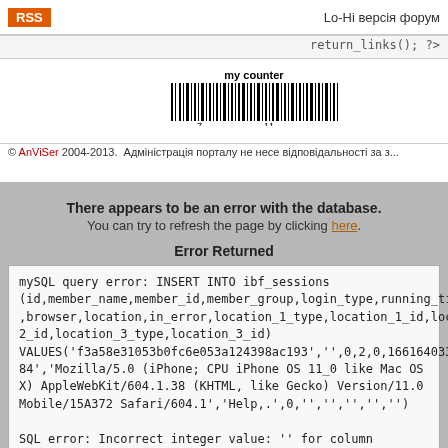RSS  Lo-Hi версія форум
return_links(); ?>
[Figure (other): my counter barcode image with numbers 7 and 11]
© AnViSer 2004-2013.  Адміністрація порталу не несе відповідальності за з...
There appears to be an error with the database.
You can try to refresh the page by clicking here.
Error Returned
mySQL query error: INSERT INTO ibf_sessions (id,member_name,member_id,member_group,login_type,running_time,ip_ ,browser,location,in_error,location_1_type,location_1_id,location_2_type,lo 2_id,location_3_type,location_3_id) VALUES('f3a58e31053b0fc6e053a124398ac193','',0,2,0,1661640339,'44.2 84','Mozilla/5.0 (iPhone; CPU iPhone OS 11_0 like Mac OS X) AppleWebKit/604.1.38 (KHTML, like Gecko) Version/11.0 Mobile/15A372 Safari/604.1','Help,.',0,'','','','','') 

SQL error: Incorrect integer value: '' for column 'location_1_id' at row 1
SQL error code:
Date: Sunday 28th 2022f August 2022 01:45:39 AM
We apologise for any inconvenience